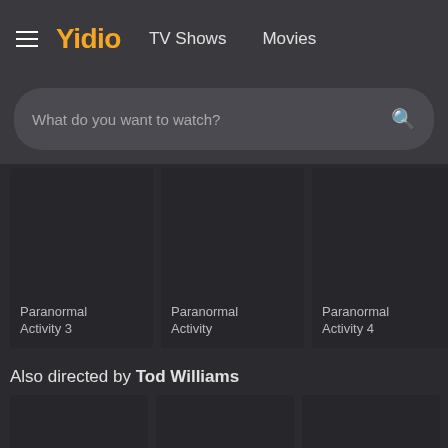Yidio  TV Shows  Movies
What do you want to watch?
[Figure (screenshot): Movie card: Paranormal Activity 3]
[Figure (screenshot): Movie card: Paranormal Activity]
[Figure (screenshot): Movie card: Paranormal Activity 4]
[Figure (screenshot): Movie card: partially visible (cropped)]
Also directed by Tod Williams
[Figure (screenshot): Bottom movie card 1 (partially visible)]
[Figure (screenshot): Bottom movie card 2 (partially visible)]
[Figure (screenshot): Bottom movie card 3 (partially visible)]